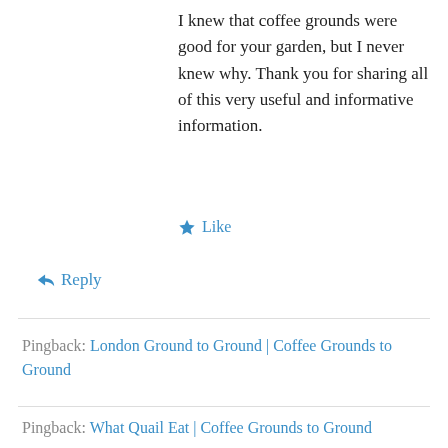I knew that coffee grounds were good for your garden, but I never knew why. Thank you for sharing all of this very useful and informative information.
★ Like
↳ Reply
Pingback: London Ground to Ground | Coffee Grounds to Ground
Pingback: What Quail Eat | Coffee Grounds to Ground
Shelley Burbank on July 20, 2012 at 12:53 am
Hi Shane: I am SO glad you stopped by my blog